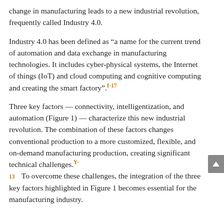change in manufacturing leads to a new industrial revolution, frequently called Industry 4.0.
Industry 4.0 has been defined as “a name for the current trend of automation and data exchange in manufacturing technologies. It includes cyber-physical systems, the Internet of things (IoT) and cloud computing and cognitive computing and creating the smart factory”. [I-17]
Three key factors — connectivity, intelligentization, and automation (Figure 1) — characterize this new industrial revolution. The combination of these factors changes conventional production to a more customized, flexible, and on-demand manufacturing production, creating significant technical challenges. [Y-13] To overcome these challenges, the integration of the three key factors highlighted in Figure 1 becomes essential for the manufacturing industry.